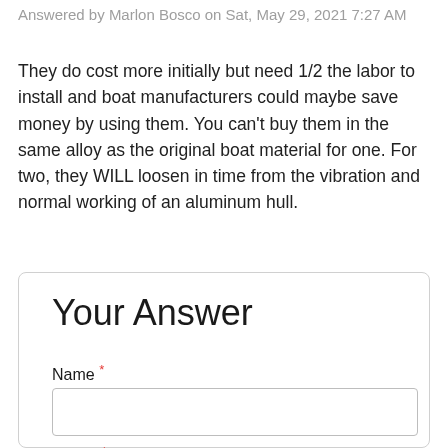Answered by Marlon Bosco on Sat, May 29, 2021 7:27 AM
They do cost more initially but need 1/2 the labor to install and boat manufacturers could maybe save money by using them. You can't buy them in the same alloy as the original boat material for one. For two, they WILL loosen in time from the vibration and normal working of an aluminum hull.
Your Answer
Name *
E-mail *